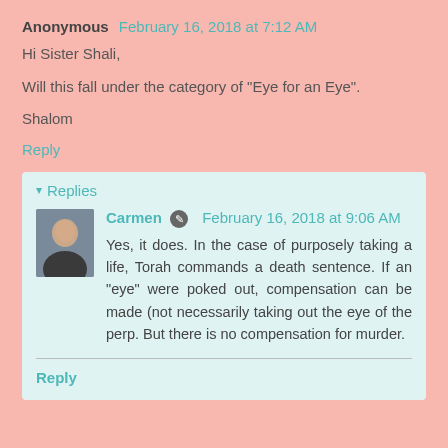Anonymous  February 16, 2018 at 7:12 AM
Hi Sister Shali,
Will this fall under the category of "Eye for an Eye".
Shalom
Reply
▾ Replies
Carmen  February 16, 2018 at 9:06 AM
Yes, it does. In the case of purposely taking a life, Torah commands a death sentence. If an "eye" were poked out, compensation can be made (not necessarily taking out the eye of the perp. But there is no compensation for murder.
Reply